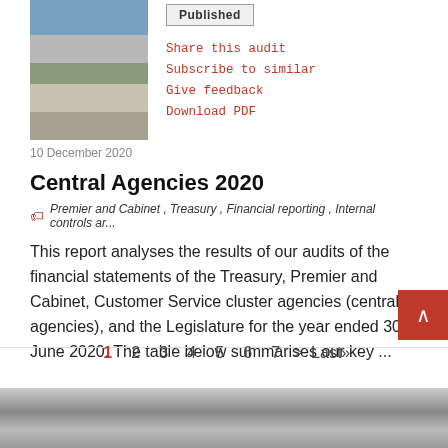[Figure (photo): Street photo showing urban scene with people walking, buildings and flags visible]
Published
Share this audit
Subscribe to similar
Give feedback
Download PDF
10 December 2020
Central Agencies 2020
Premier and Cabinet , Treasury , Financial reporting , Internal controls ar...
This report analyses the results of our audits of the financial statements of the Treasury, Premier and Cabinet, Customer Service cluster agencies (central agencies), and the Legislature for the year ended 30 June 2020. The table below summarises our key ...
1 2 3 4 5 6 7 > Last»
[Figure (photo): Close-up photo of papers or documents, blurred/defocused]